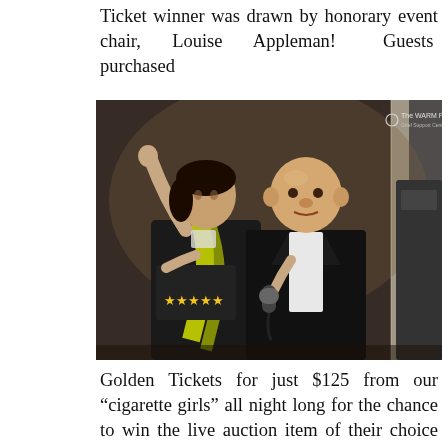Ticket winner was drawn by honorary event chair, Louise Appleman!  Guests purchased
[Figure (photo): A woman in a black dress with a yellow-green scarf raising her arm in celebration, standing next to a bald man in a black tuxedo holding a microphone. They appear to be at a gala event. A watermark reads 'The WARM Place' in the upper right corner.]
Golden  Tickets  for  just  $125  from  our “cigarette girls” all night long for the chance to win the live auction item of their choice prior to opening  up  the  bidding.   The  lucky  winner chose a private concert from The Voice’s Luke Wade at Bahr Brewery which included award